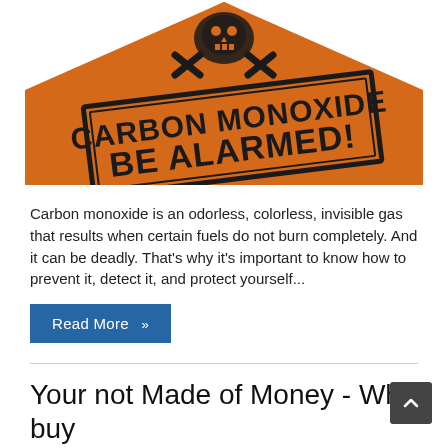[Figure (illustration): Orange warning sign shaped like a house with skull and crossbones at top. Contains a tilted black-bordered rectangle with bold black text reading 'CARBON MONOXIDE BE ALARMED!']
Carbon monoxide is an odorless, colorless, invisible gas that results when certain fuels do not burn completely. And it can be deadly. That's why it's important to know how to prevent it, detect it, and protect yourself...
Read More »
Your not Made of Money - Why buy